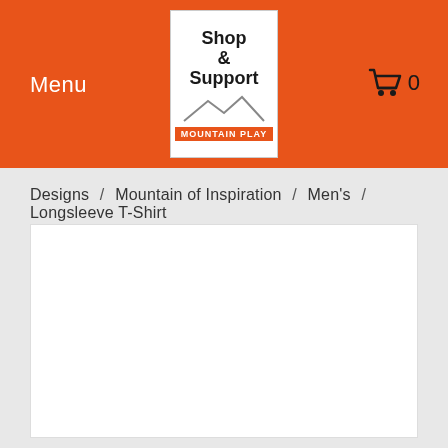Menu | Shop & Support Mountain Play | 0
Designs / Mountain of Inspiration / Men's / Longsleeve T-Shirt
[Figure (other): White content area placeholder for product image]